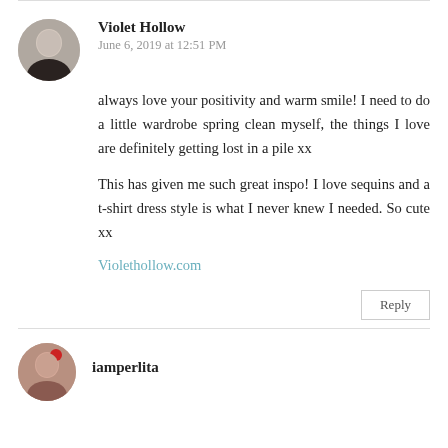Violet Hollow
June 6, 2019 at 12:51 PM
always love your positivity and warm smile! I need to do a little wardrobe spring clean myself, the things I love are definitely getting lost in a pile xx
This has given me such great inspo! I love sequins and a t-shirt dress style is what I never knew I needed. So cute xx
Violethollow.com
Reply
iamperlita